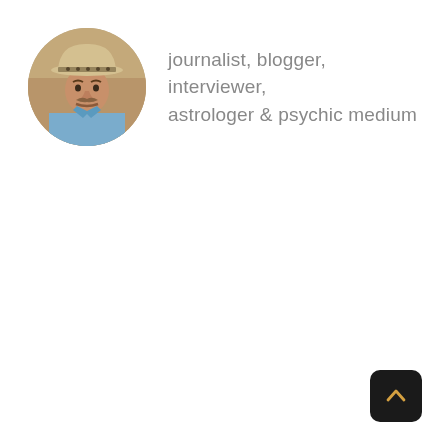[Figure (photo): Circular profile photo of a man wearing a cowboy hat and blue shirt, appears to be outdoors]
journalist, blogger, interviewer, astrologer & psychic medium